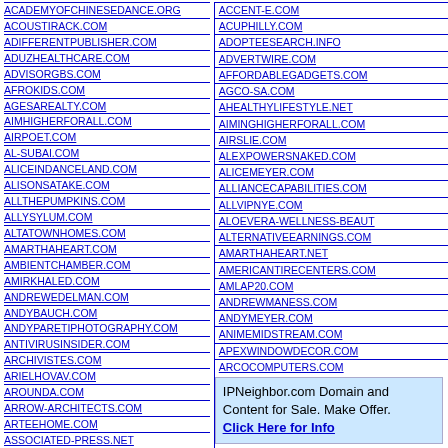ACADEMYOFCHINESEDANCE.ORG
ACOUSTIRACK.COM
ADIFFERENTPUBLISHER.COM
ADUZHEALTHCARE.COM
ADVISORGBS.COM
AFROKIDS.COM
AGESAREALTY.COM
AIMHIGHERFORALL.COM
AIRPOET.COM
AL-SUBAI.COM
ALICEINDANCELAND.COM
ALISONSATAKE.COM
ALLTHEPUMPKINS.COM
ALLYSYLUM.COM
ALTATOWNHOMES.COM
AMARTHAHEART.COM
AMBIENTCHAMBER.COM
AMIRKHALED.COM
ANDREWEDELMAN.COM
ANDYBAUCH.COM
ANDYPARETIPHOTOGRAPHY.COM
ANTIVIRUSINSIDER.COM
ARCHIVISTES.COM
ARIELHOVAV.COM
AROUNDA.COM
ARROW-ARCHITECTS.COM
ARTEEHOME.COM
ASSOCIATED-PRESS.NET
ACCENT-E.COM
ACUPHILLY.COM
ADOPTEESEARCH.INFO
ADVERTWIRE.COM
AFFORDABLEGADGETS.COM
AGCO-SA.COM
AHEALTHYLIFESTYLE.NET
AIMINGHIGHERFORALL.COM
AIRSLIE.COM
ALEXPOWERSNAKED.COM
ALICEMEYER.COM
ALLIANCECAPABILITIES.COM
ALLVIPNYE.COM
ALOEVERA-WELLNESS-BEAUTY
ALTERNATIVEEARNINGS.COM
AMARTHAHEART.NET
AMERICANTIRECENTERS.COM
AMLAP20.COM
ANDREWMANESS.COM
ANDYMEYER.COM
ANIMEMIDSTREAM.COM
APEXWINDOWDECOR.COM
ARCOCOMPUTERS.COM
IPNeighbor.com Domain and Content for Sale. Make Offer. Click Here for Info